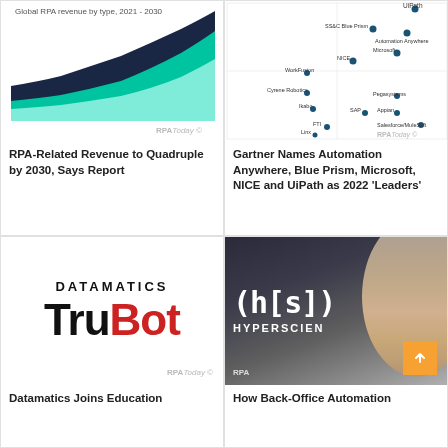[Figure (area-chart): Area chart showing global RPA revenue by type from 2021 to 2030, with dark navy area on top and teal/green area below.]
RPA-Related Revenue to Quadruple by 2030, Says Report
[Figure (scatter-plot): Scatter plot showing RPA vendors positioned on a 2-axis grid. Vendors include UiPath, SS&C Blue Prism, Automation Anywhere, Microsoft, NICE, WorkFusion, Cyrene Robotics, Ikabo, SAP, Appian, Pegasystems, Salesforce/MuleSoft, FTI, Linx.]
Gartner Names Automation Anywhere, Blue Prism, Microsoft, NICE and UiPath as 2022 ‘Leaders’
[Figure (logo): Datamatics TruBot logo - DATAMATICS in black uppercase, TruBot with Tru in black and Bot in red, bold. RPAToday watermark at bottom right.]
Datamatics Joins Education
[Figure (photo): Photo of a smiling Asian man in a checkered shirt in front of a Hyperscience branded background with h[s] logo text. RPAToday watermark. Orange scroll-to-top button overlay.]
How Back-Office Automation